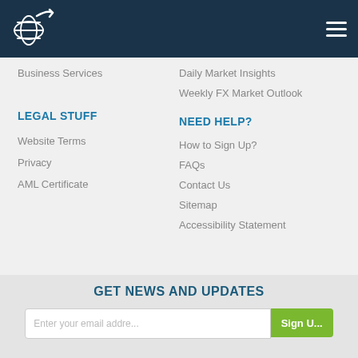[Figure (logo): Company logo with globe/arrow icon in white on dark navy header]
Business Services
Daily Market Insights
Weekly FX Market Outlook
LEGAL STUFF
NEED HELP?
Website Terms
How to Sign Up?
Privacy
FAQs
AML Certificate
Contact Us
Sitemap
Accessibility Statement
GET NEWS AND UPDATES